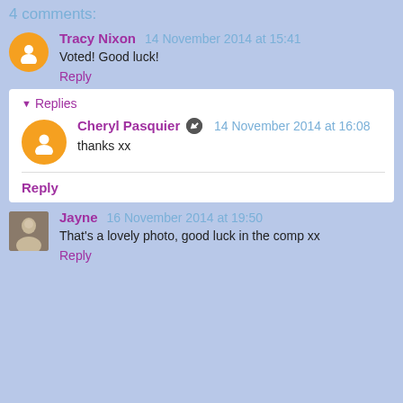4 comments:
Tracy Nixon 14 November 2014 at 15:41
Voted! Good luck!
Reply
Replies
Cheryl Pasquier 14 November 2014 at 16:08
thanks xx
Reply
Jayne 16 November 2014 at 19:50
That's a lovely photo, good luck in the comp xx
Reply